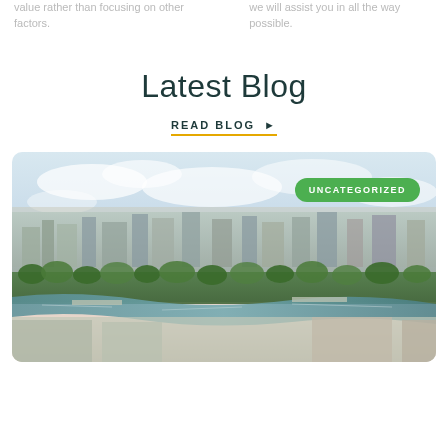value rather than focusing on other factors.
we will assist you in all the way possible.
Latest Blog
READ BLOG ▶
[Figure (photo): Aerial cityscape photo of Paris with the Seine river, trees, and city buildings. A green pill badge reads UNCATEGORIZED in the top right.]